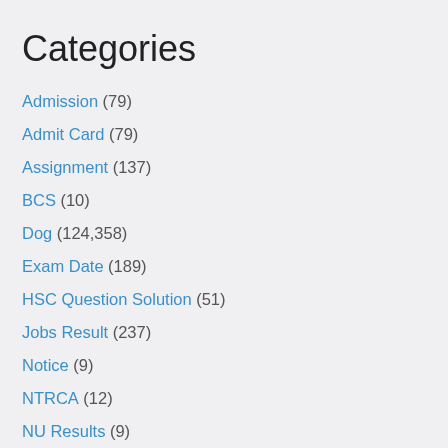Categories
Admission (79)
Admit Card (79)
Assignment (137)
BCS (10)
Dog (124,358)
Exam Date (189)
HSC Question Solution (51)
Jobs Result (237)
Notice (9)
NTRCA (12)
NU Results (9)
Q&A (64,177)